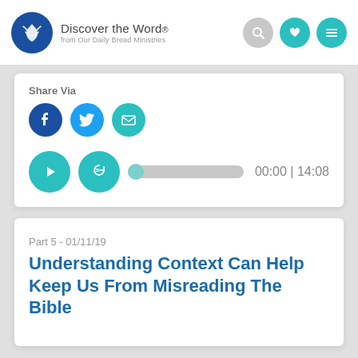Discover the Word. from Our Daily Bread Ministries
Share Via
00:00 | 14:08
Part 5 - 01/11/19
Understanding Context Can Help Keep Us From Misreading The Bible